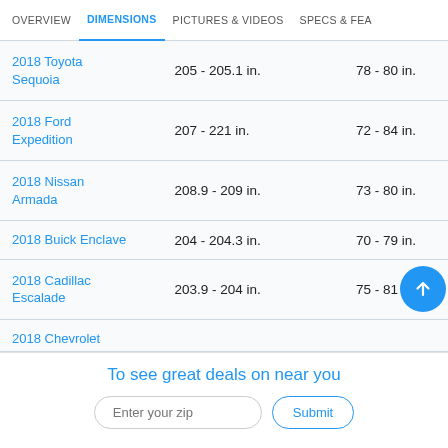OVERVIEW | DIMENSIONS | PICTURES & VIDEOS | SPECS & FEATURES
| Vehicle | Length | Width |
| --- | --- | --- |
| 2018 Toyota Sequoia | 205 - 205.1 in. | 78 - 80 in. |
| 2018 Ford Expedition | 207 - 221 in. | 72 - 84 in. |
| 2018 Nissan Armada | 208.9 - 209 in. | 73 - 80 in. |
| 2018 Buick Enclave | 204 - 204.3 in. | 70 - 79 in. |
| 2018 Cadillac Escalade | 203.9 - 204 in. | 75 - 81 in. |
| 2018 Chevrolet |  |  |
To see great deals on near you
Enter your zip | Submit